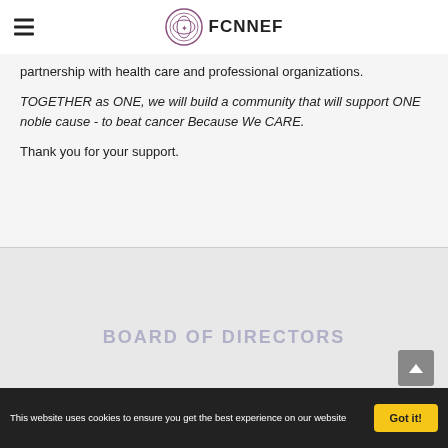FCNNEF
partnership with health care and professional organizations.
TOGETHER as ONE, we will build a community that will support ONE noble cause - to beat cancer Because We CARE.
Thank you for your support.
BOARD OF DIRECTORS
This website uses cookies to ensure you get the best experience on our website